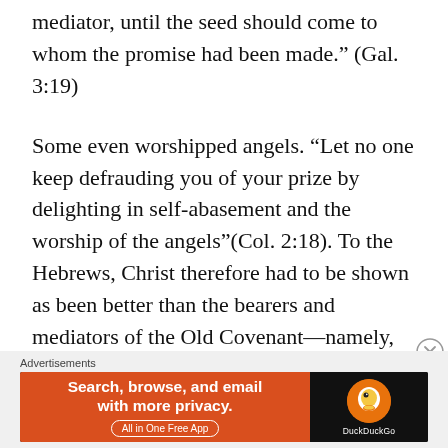mediator, until the seed should come to whom the promise had been made.” (Gal. 3:19)
Some even worshipped angels. “Let no one keep defrauding you of your prize by delighting in self-abasement and the worship of the angels”(Col. 2:18). To the Hebrews, Christ therefore had to be shown as been better than the bearers and mediators of the Old Covenant—namely, the angels. Seven Old Testament passages were used by the writer of Hebrews to establish this truth.
Advertisements
[Figure (other): DuckDuckGo advertisement banner: orange left panel with text 'Search, browse, and email with more privacy. All in One Free App' and dark right panel with DuckDuckGo duck logo and brand name.]